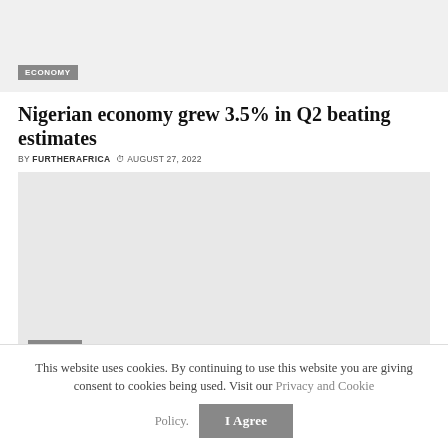[Figure (photo): Gray placeholder image area with ECONOMY tag label at bottom left]
Nigerian economy grew 3.5% in Q2 beating estimates
BY FURTHERAFRICA  © AUGUST 27, 2022
[Figure (photo): Gray placeholder image area with FINANCE tag label at bottom left]
This website uses cookies. By continuing to use this website you are giving consent to cookies being used. Visit our Privacy and Cookie Policy.